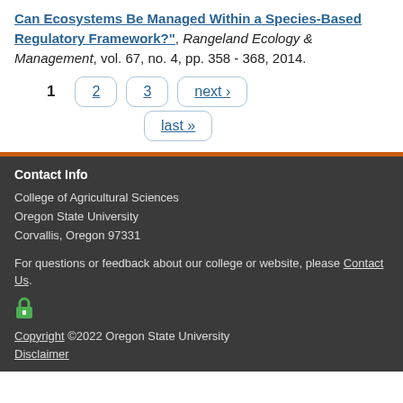"Can Ecosystems Be Managed Within a Species-Based Regulatory Framework?", Rangeland Ecology & Management, vol. 67, no. 4, pp. 358 - 368, 2014.
1  2  3  next ›  last »
Contact Info
College of Agricultural Sciences
Oregon State University
Corvallis, Oregon 97331
For questions or feedback about our college or website, please Contact Us.
Copyright ©2022 Oregon State University
Disclaimer